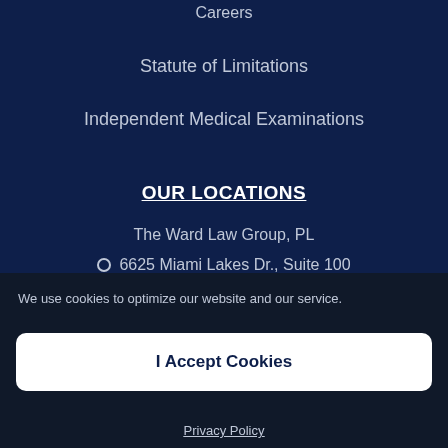Careers
Statute of Limitations
Independent Medical Examinations
OUR LOCATIONS
The Ward Law Group, PL
6625 Miami Lakes Dr., Suite 100
We use cookies to optimize our website and our service.
I Accept Cookies
Privacy Policy